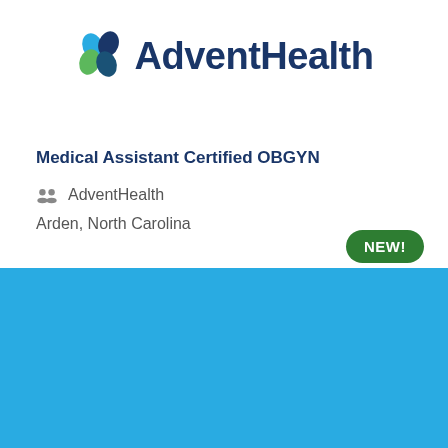[Figure (logo): AdventHealth logo with teal and green leaf icon and dark blue bold text]
Medical Assistant Certified OBGYN
AdventHealth
Arden, North Carolina
NEW!
Cookie Settings
Got it
We use cookies so that we can remember you and understand how you use our site. If you do not agree with our use of cookies, please change the current settings found in our Cookie Policy. Otherwise, you agree to the use of the cookies as they are currently set.